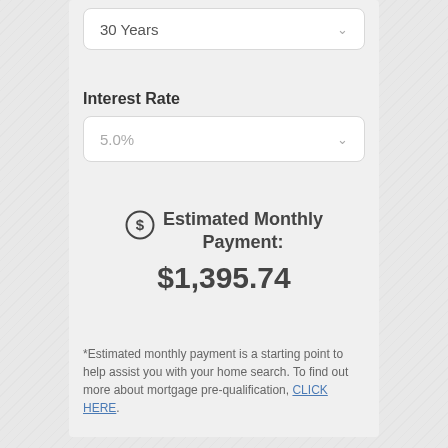[Figure (screenshot): Dropdown field showing '30 years' with a chevron/arrow icon on the right, white rounded rectangle on light gray background]
Interest Rate
[Figure (screenshot): Dropdown field showing '5.0%' with a chevron/arrow icon on the right, white rounded rectangle on light gray background]
Estimated Monthly Payment: $1,395.74
*Estimated monthly payment is a starting point to help assist you with your home search. To find out more about mortgage pre-qualification, CLICK HERE.